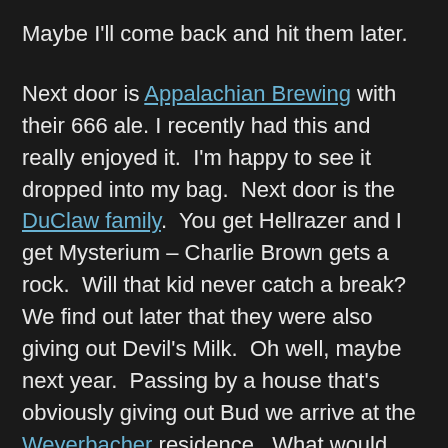Maybe I'll come back and hit them later.
Next door is Appalachian Brewing with their 666 ale. I recently had this and really enjoyed it. I'm happy to see it dropped into my bag. Next door is the DuClaw family. You get Hellrazer and I get Mysterium – Charlie Brown gets a rock. Will that kid never catch a break? We find out later that they were also giving out Devil's Milk. Oh well, maybe next year. Passing by a house that's obviously giving out Bud we arrive at the Weyerbacher residence. What would Halloween be without a little Insanity? Pretty boring really. The final house on the street is the New Holland house. They're giving out Ichabod. We might have to go back later for seconds. Maybe they won't remember we were here earlier.